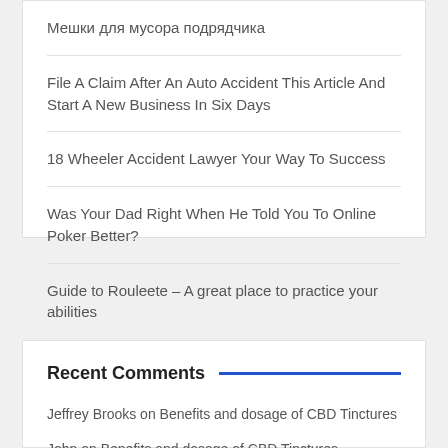Мешки для мусора подрядчика
File A Claim After An Auto Accident This Article And Start A New Business In Six Days
18 Wheeler Accident Lawyer Your Way To Success
Was Your Dad Right When He Told You To Online Poker Better?
Guide to Rouleete – A great place to practice your abilities
Recent Comments
Jeffrey Brooks on Benefits and dosage of CBD Tinctures
John on Benefits and dosage of CBD Tinctures